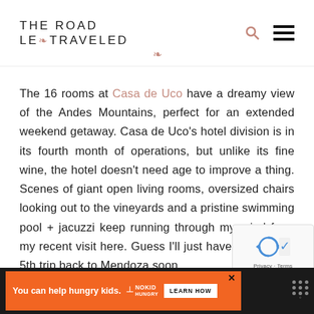THE ROAD LESS TRAVELED
The 16 rooms at Casa de Uco have a dreamy view of the Andes Mountains, perfect for an extended weekend getaway. Casa de Uco's hotel division is in its fourth month of operations, but unlike its fine wine, the hotel doesn't need age to improve a thing. Scenes of giant open living rooms, oversized chairs looking out to the vineyards and a pristine swimming pool + jacuzzi keep running through my mind from my recent visit here. Guess I'll just have to book my 5th trip back to Mendoza soon.
[Figure (other): reCAPTCHA widget overlay showing rotating arrows logo with Privacy and Terms links]
[Figure (other): Advertisement banner: orange background with text 'You can help hungry kids.' No Kid Hungry logo and LEARN HOW button]